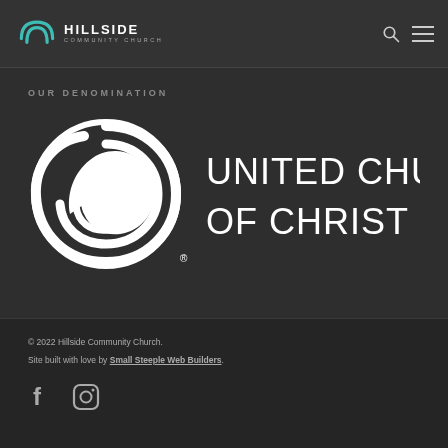[Figure (logo): Hillside Community Church logo with teal arch icon and HILLSIDE COMMUNITY CHURCH text]
[Figure (logo): Search and hamburger menu navigation icons in top right header]
OUR DENOMINATION
[Figure (logo): United Church of Christ logo with white spiral/swirl circle icon and UNITED CHURCH OF CHRIST text]
© 2022 Hillside Community Church. Site built with love by Small Steeple Web Builders.
[Figure (logo): Facebook and Instagram social media icons in footer]